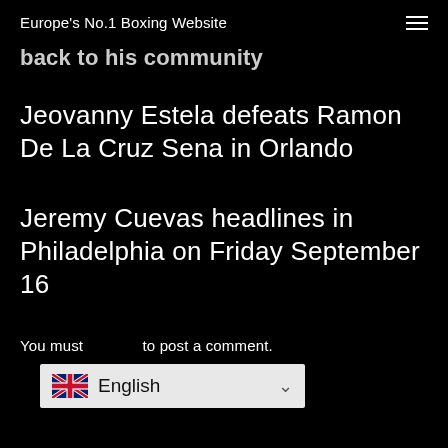Europe's No.1 Boxing Website
back to his community
Jeovanny Estela defeats Ramon De La Cruz Sena in Orlando
Jeremy Cuevas headlines in Philadelphia on Friday September 16
You must [login] to post a comment.
[Figure (other): Language selector dropdown showing UK flag and 'English' with a chevron/down arrow, on a light grey background]